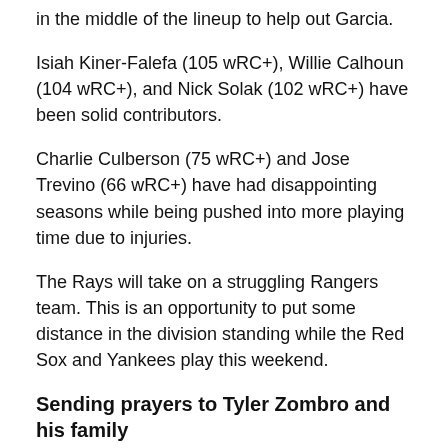in the middle of the lineup to help out Garcia.
Isiah Kiner-Falefa (105 wRC+), Willie Calhoun (104 wRC+), and Nick Solak (102 wRC+) have been solid contributors.
Charlie Culberson (75 wRC+) and Jose Trevino (66 wRC+) have had disappointing seasons while being pushed into more playing time due to injuries.
The Rays will take on a struggling Rangers team. This is an opportunity to put some distance in the division standing while the Red Sox and Yankees play this weekend.
Sending prayers to Tyler Zombro and his family
Last night the Durham Bulls game was suspended after pitcher Tyler Zombro took a liner off the head